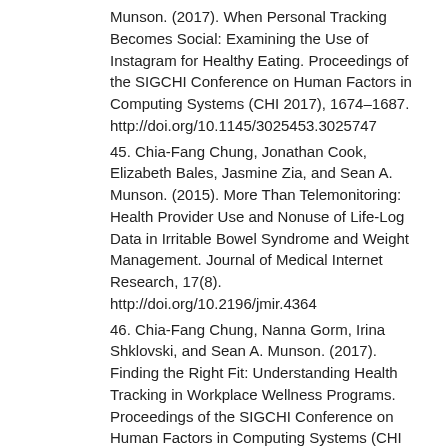Munson. (2017). When Personal Tracking Becomes Social: Examining the Use of Instagram for Healthy Eating. Proceedings of the SIGCHI Conference on Human Factors in Computing Systems (CHI 2017), 1674–1687. http://doi.org/10.1145/3025453.3025747
45. Chia-Fang Chung, Jonathan Cook, Elizabeth Bales, Jasmine Zia, and Sean A. Munson. (2015). More Than Telemonitoring: Health Provider Use and Nonuse of Life-Log Data in Irritable Bowel Syndrome and Weight Management. Journal of Medical Internet Research, 17(8). http://doi.org/10.2196/jmir.4364
46. Chia-Fang Chung, Nanna Gorm, Irina Shklovski, and Sean A. Munson. (2017). Finding the Right Fit: Understanding Health Tracking in Workplace Wellness Programs. Proceedings of the SIGCHI Conference on Human Factors in Computing Systems (CHI 2017). http://doi.org/cps9
47. James Clawson, Jessica A. Pater, Andrew D. Miller,